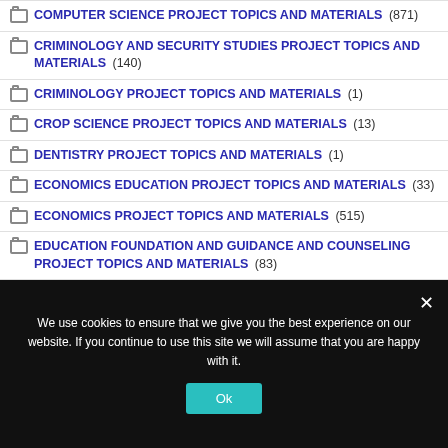COMPUTER SCIENCE PROJECT TOPICS AND MATERIALS (871)
CRIMINOLOGY AND SECURITY STUDIES PROJECT TOPICS AND MATERIALS (140)
CRIMINOLOGY PROJECT TOPICS AND MATERIALS (1)
CROP SCIENCE PROJECT TOPICS AND MATERIALS (13)
DENTISTRY PROJECT TOPICS AND MATERIALS (1)
ECONOMICS EDUCATION PROJECT TOPICS AND MATERIALS (33)
ECONOMICS PROJECT TOPICS AND MATERIALS (515)
EDUCATION FOUNDATION AND GUIDANCE AND COUNSELING PROJECT TOPICS AND MATERIALS (83)
We use cookies to ensure that we give you the best experience on our website. If you continue to use this site we will assume that you are happy with it.